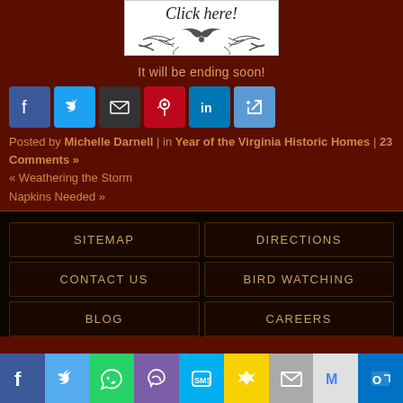[Figure (illustration): Decorative banner with 'Click here!' text and ornamental flourish design on white background]
It will be ending soon!
[Figure (infographic): Social sharing icons row: Facebook, Twitter, Email, Pinterest, LinkedIn, Share]
Posted by Michelle Darnell | in Year of the Virginia Historic Homes | 23 Comments »
« Weathering the Storm
Napkins Needed »
SITEMAP
DIRECTIONS
CONTACT US
BIRD WATCHING
BLOG
CAREERS
[Figure (infographic): Mobile share bar with Facebook, Twitter, WhatsApp, Phone, SMS, Snapchat, Mail, Gmail, Outlook icons]